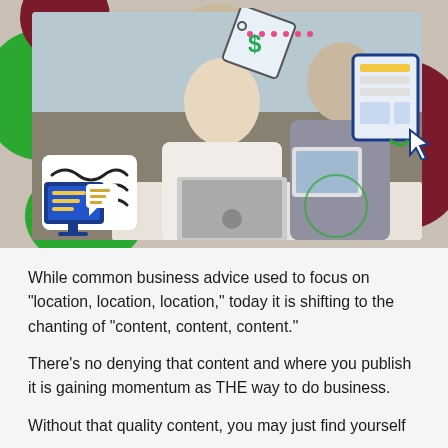[Figure (photo): Two professionals collaborating at a laptop in an office setting. A woman in a cream sweater types on a laptop while a man in a grey shirt leans over to show her something on a tablet. Decorative illustrated icons overlay the photo: a wavy lines icon on the left, a rocket/discount tag icon in the center-top, a beige circle with pink dots, a monitor with chat bubble on the lower-left, and a tablet/cursor icon on the upper-right. Green and dark red decorative blob shapes frame the photo.]
While common business advice used to focus on “location, location, location,” today it is shifting to the chanting of “content, content, content.”
There’s no denying that content and where you publish it is gaining momentum as THE way to do business.
Without that quality content, you may just find yourself